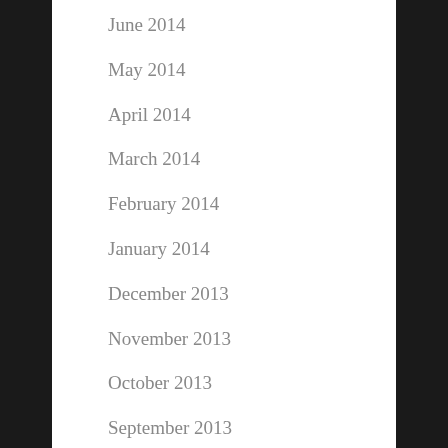June 2014
May 2014
April 2014
March 2014
February 2014
January 2014
December 2013
November 2013
October 2013
September 2013
August 2013
July 2013